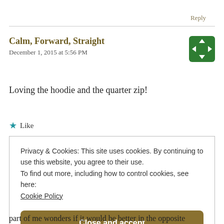Reply
Calm, Forward, Straight
December 1, 2015 at 5:56 PM
[Figure (logo): Green square logo with arrows pointing inward in a circular pattern]
Loving the hoodie and the quarter zip!
★ Like
Privacy & Cookies: This site uses cookies. By continuing to use this website, you agree to their use. To find out more, including how to control cookies, see here: Cookie Policy
Close and accept
part of me wonders if it would be better in the opposite